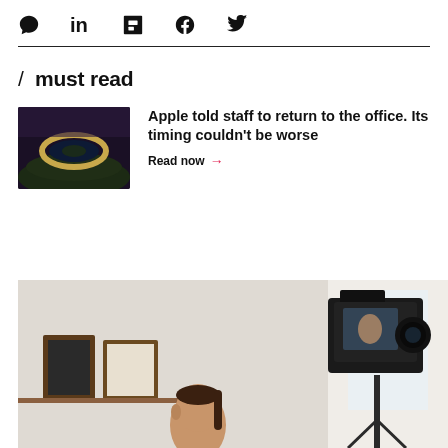social icons: comment, linkedin, flipboard, facebook, twitter
/ must read
[Figure (photo): Aerial view of Apple Park campus, circular building surrounded by trees]
Apple told staff to return to the office. Its timing couldn't be worse
Read now →
[Figure (photo): Woman sitting in front of a DSLR camera on tripod, filming herself in a home studio setting with framed pictures on the wall behind her]